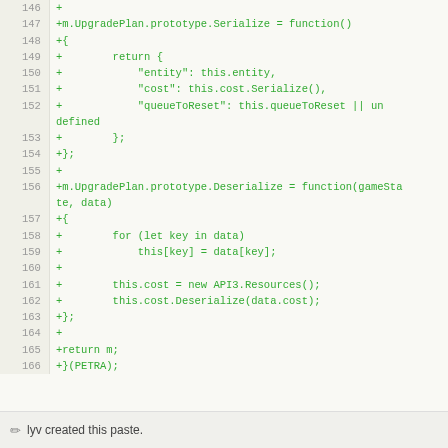[Figure (screenshot): Code diff view showing JavaScript lines 146-166 in green monospace font on a light yellow-white background, with line numbers in a left gutter.]
lyv created this paste.